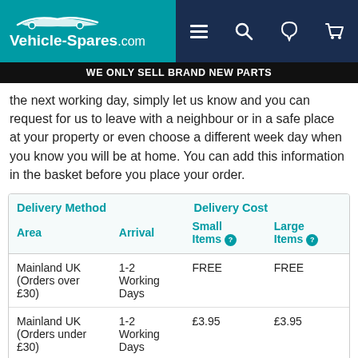[Figure (logo): Vehicle-Spares.com logo with car silhouette on teal background, navigation icons on dark blue background]
WE ONLY SELL BRAND NEW PARTS
the next working day, simply let us know and you can request for us to leave with a neighbour or in a safe place at your property or even choose a different week day when you know you will be at home. You can add this information in the basket before you place your order.
| Delivery Method |  | Delivery Cost |  |
| --- | --- | --- | --- |
| Area | Arrival | Small Items | Large Items |
| Mainland UK (Orders over £30) | 1-2 Working Days | FREE | FREE |
| Mainland UK (Orders under £30) | 1-2 Working Days | £3.95 | £3.95 |
| Northern Ireland & ROI | 2-3 Working Days | £18.00 | £36.00 |